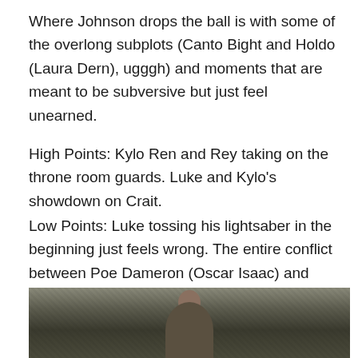Where Johnson drops the ball is with some of the overlong subplots (Canto Bight and Holdo (Laura Dern), ugggh) and moments that are meant to be subversive but just feel unearned.
High Points: Kylo Ren and Rey taking on the throne room guards. Luke and Kylo's showdown on Crait.
Low Points: Luke tossing his lightsaber in the beginning just feels wrong. The entire conflict between Poe Dameron (Oscar Isaac) and Holdo is yawn-worthy.
Grade: B+
[Figure (photo): A dark, sepia-toned photo showing a figure, partially visible, in a dimly lit scene.]